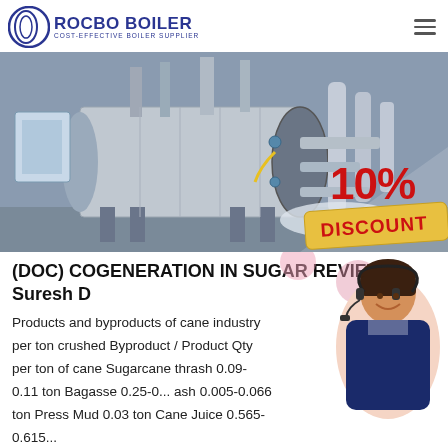ROCBO BOILER - COST-EFFECTIVE BOILER SUPPLIER
[Figure (photo): Industrial boiler equipment in a factory setting, large cylindrical steel boiler with pipes and fittings, with a 10% DISCOUNT badge overlay in the bottom right corner]
(DOC) COGENERATION IN SUGAR REVIEW | Suresh D
Products and byproducts of cane industry per ton crushed Byproduct / Product Qty per ton of cane Sugarcane thrash 0.09-0.11 ton Bagasse 0.25-0... ash 0.005-0.066 ton Press Mud 0.03 ton Cane Juice 0.565-0.615...